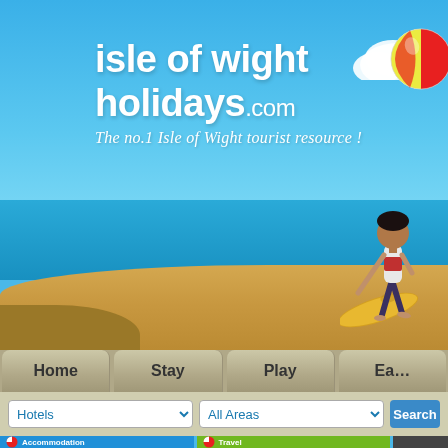[Figure (screenshot): Isle of Wight Holidays website screenshot showing hero banner with beach scene, surfer, beach ball, navigation bar with Home/Stay/Play/Eat tabs, search dropdowns for Hotels and All Areas, and category tiles for Accommodation and Travel]
isle of wight holidays.com
The no.1 Isle of Wight tourist resource !
Home | Stay | Play | Ea...
Hotels   All Areas   Search
Accommodation   Travel